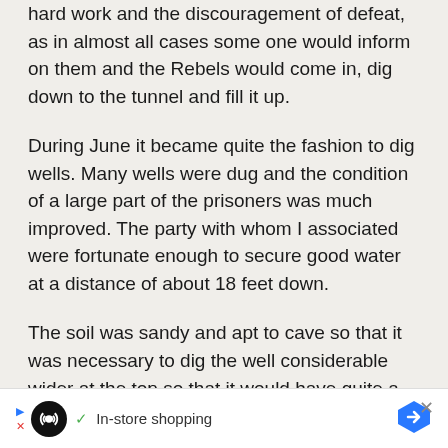hard work and the discouragement of defeat, as in almost all cases some one would inform on them and the Rebels would come in, dig down to the tunnel and fill it up.
During June it became quite the fashion to dig wells. Many wells were dug and the condition of a large part of the prisoners was much improved. The party with whom I associated were fortunate enough to secure good water at a distance of about 18 feet down.
The soil was sandy and apt to cave so that it was necessary to dig the well considerable wider at the top so that it would have quite a slope to prevent caving in. The means used for removing the earth were generally a pair of
[Figure (other): Advertisement banner at bottom: black circle icon with infinity-loop symbol, checkmark icon, text 'In-store shopping', blue hexagon arrow icon. Small triangle and X close button on left side.]